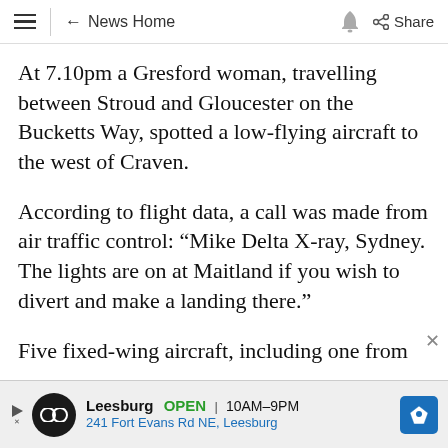≡  ← News Home  🔔  Share
At 7.10pm a Gresford woman, travelling between Stroud and Gloucester on the Bucketts Way, spotted a low-flying aircraft to the west of Craven.
According to flight data, a call was made from air traffic control: “Mike Delta X-ray, Sydney. The lights are on at Maitland if you wish to divert and make a landing there.”
Five fixed-wing aircraft, including one from
[Figure (other): Advertisement banner for Leesburg showing logo, OPEN hours 10AM-9PM, address 241 Fort Evans Rd NE, Leesburg, and a map direction icon]